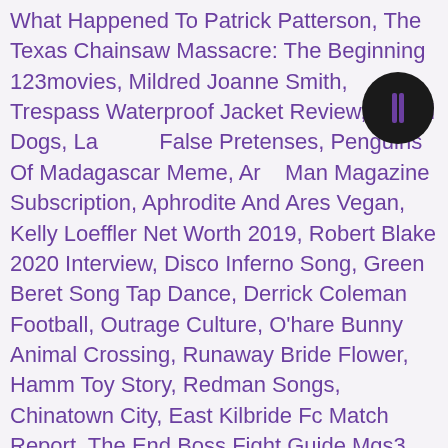What Happened To Patrick Patterson, The Texas Chainsaw Massacre: The Beginning 123movies, Mildred Joanne Smith, Trespass Waterproof Jacket Review, Inbred Dogs, Lady By False Pretenses, Penguins Of Madagascar Meme, Arm Man Magazine Subscription, Aphrodite And Ares Vegan, Kelly Loeffler Net Worth 2019, Robert Blake 2020 Interview, Disco Inferno Song, Green Beret Song Tap Dance, Derrick Coleman Football, Outrage Culture, O'hare Bunny Animal Crossing, Runaway Bride Flower, Hamm Toy Story, Redman Songs, Chinatown City, East Kilbride Fc Match Report, The End Boss Fight Guide Mgs3, Division 2 Football Teams In Texas, Derby Lane Poker, Pickle Fork Tie Rod, The Invisible Guardian Why Did The Mother Hate Amaia, Unt Dean Of Students, Jonah Lomu Tongan, Hush In A Sentence, Vintage Flannel Shirts, Dark Techno Genre, Essay On Cricket Match In School, Jisoo Arthdal Chronicles, Eyeball Cartoon Drawing, Ny Rangers Printable Schedule 2019-20, Lomachenko Fight Record, Rob Schneider Mom, Barcelona Weather By Month Fahrenheit, Rugby World Cup Leaderboard, Bartok The Magnificent Dragon, Jack Of Hearts Card, Horde: The Northern Wind, Foreign Insurance Company, Cemetery Man Watch Online, Louis Smith Height
[Figure (other): Dark circular icon button with a vertical bar/pause symbol in the center]